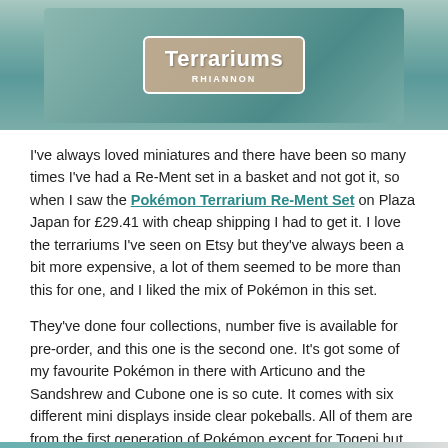[Figure (photo): Header image showing Pokemon Terrarium Re-Ment sets in clear pokeballs on a wooden surface, with a title overlay box reading 'Terrariums' and byline 'RHIANNON']
I've always loved miniatures and there have been so many times I've had a Re-Ment set in a basket and not got it, so when I saw the Pokémon Terrarium Re-Ment Set on Plaza Japan for £29.41 with cheap shipping I had to get it. I love the terrariums I've seen on Etsy but they've always been a bit more expensive, a lot of them seemed to be more than this for one, and I liked the mix of Pokémon in this set.
They've done four collections, number five is available for pre-order, and this one is the second one. It's got some of my favourite Pokémon in there with Articuno and the Sandshrew and Cubone one is so cute. It comes with six different mini displays inside clear pokeballs. All of them are from the first generation of Pokémon except for Togepi but it's been in Pokémon so long I always think it was.